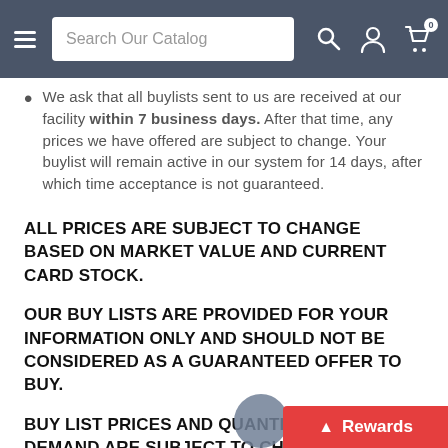Search Our Catalog [navigation bar]
We ask that all buylists sent to us are received at our facility within 7 business days. After that time, any prices we have offered are subject to change. Your buylist will remain active in our system for 14 days, after which time acceptance is not guaranteed.
ALL PRICES ARE SUBJECT TO CHANGE BASED ON MARKET VALUE AND CURRENT CARD STOCK.
OUR BUY LISTS ARE PROVIDED FOR YOUR INFORMATION ONLY AND SHOULD NOT BE CONSIDERED AS A GUARANTEED OFFER TO BUY.
BUY LIST PRICES AND QUANTITIES IN DEMAND ARE SUBJECT TO CHANGE AT ANY TIME AND WE RESERVE THE RIGHT TO R…